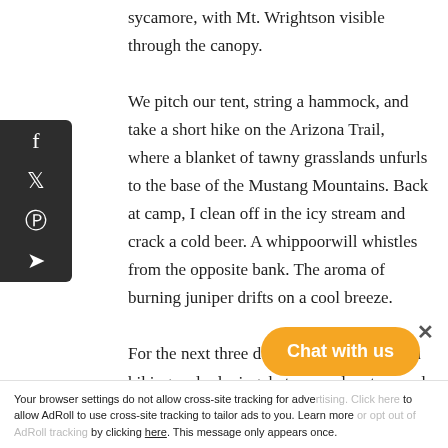sycamore, with Mt. Wrightson visible through the canopy.
We pitch our tent, string a hammock, and take a short hike on the Arizona Trail, where a blanket of tawny grasslands unfurls to the base of the Mustang Mountains. Back at camp, I clean off in the icy stream and crack a cold beer. A whippoorwill whistles from the opposite bank. The aroma of burning juniper drifts on a cool breeze.
For the next three days, we're torn between hiking and relaxing, between adventure and siesta, which at the end of our qu...
the perfection we've been searching for...
[Figure (other): Social media sharing sidebar with Facebook, Twitter, Pinterest, and Telegram icons on a dark background]
Your browser settings do not allow cross-site tracking for adve... to allow AdRoll to use cross-site tracking to tailor ads to you. Learn more... AdRoll tracking by clicking here. This message only appears once.
Chat with us